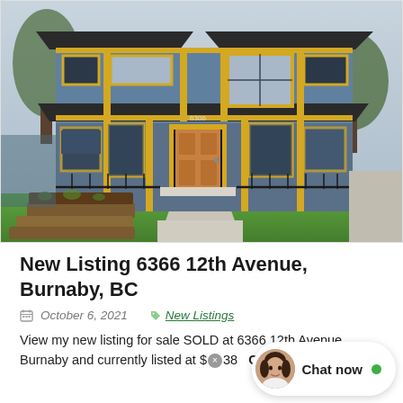[Figure (photo): Exterior photo of a modern two-story house with grey siding, yellow/gold trim accents, large windows, a wood-toned front door with address 6306, black metal railings, and landscaping with raised garden beds and green lawn.]
New Listing 6366 12th Avenue, Burnaby, BC
October 6, 2021    New Listings
View my new listing for sale SOLD at 6366 12th Avenue, Burnaby and currently listed at $[X]38  Chat now